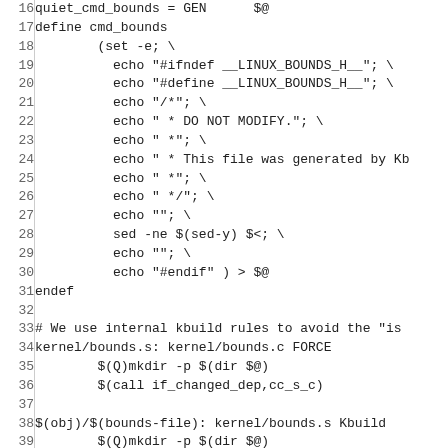[Figure (other): Source code listing (Makefile/Kbuild snippet), lines 16-42, showing quiet_cmd_bounds, define cmd_bounds, shell commands with echo and sed, endef, kbuild rules for kernel/bounds.s and $(obj)/$(bounds-file)]